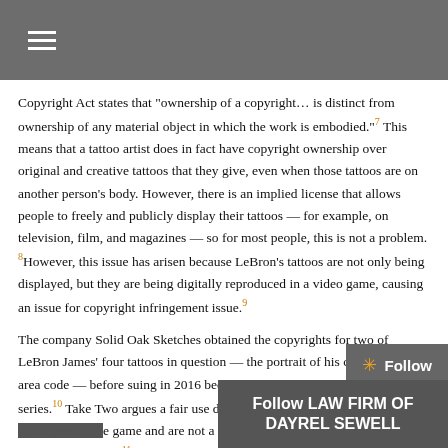≡
Copyright Act states that "ownership of a copyright… is distinct from ownership of any material object in which the work is embodied."7 This means that a tattoo artist does in fact have copyright ownership over original and creative tattoos that they give, even when those tattoos are on another person's body. However, there is an implied license that allows people to freely and publicly display their tattoos — for example, on television, film, and magazines — so for most people, this is not a problem.8 However, this issue has arisen because LeBron's tattoos are not only being displayed, but they are being digitally reproduced in a video game, causing an issue for copyright infringement issue.9
The company Solid Oak Sketches obtained the copyrights for two of LeBron James' four tattoos in question — the portrait of his child and the area code — before suing in 2016 because they were used in the NBA 2K series.10 Take Two argues a fair use defense, stating that the tattoos are [obscured] are not a critical component [obscured] only fleetingly or rarely.11 Follow LAW FIRM OF DAYREL SEWELL